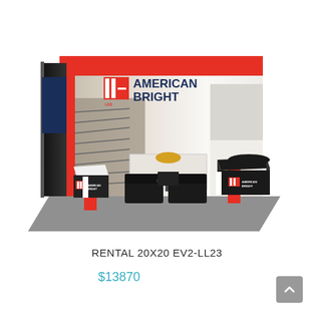[Figure (illustration): 3D rendering of a trade show exhibition booth branded 'American Bright' (LED American Bright logo). The booth is a 20x20 foot open-corner design with a large backwall display showing a kitchen/interior lifestyle image, red and white structural columns, two podium counters with American Bright branding, black seating furniture in the center, and a tall black tower on the left side.]
RENTAL 20X20 EV2-LL23
$13870